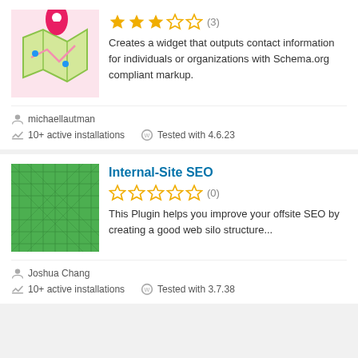[Figure (illustration): Map icon with pink location pin and blue dots on yellow-green folded map, pink background]
[Figure (other): Star rating: 3 out of 5 stars filled, (3) reviews]
Creates a widget that outputs contact information for individuals or organizations with Schema.org compliant markup.
michaellautman
10+ active installations
Tested with 4.6.23
Internal-Site SEO
[Figure (illustration): Green plaid/checkered square plugin icon]
[Figure (other): Star rating: 0 out of 5 stars, all empty, (0) reviews]
This Plugin helps you improve your offsite SEO by creating a good web silo structure...
Joshua Chang
10+ active installations
Tested with 3.7.38